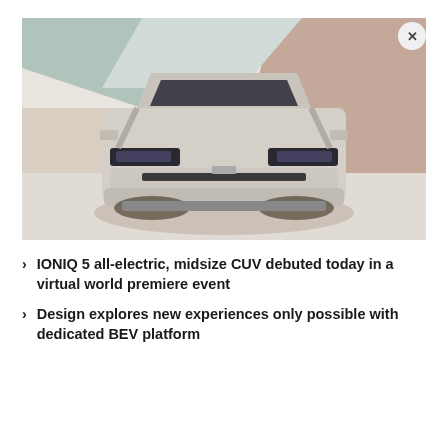[Figure (photo): Front-facing view of a Hyundai IONIQ 5 electric CUV in a stylized studio setting with geometric colored wall panels in beige, sage green, and dusty rose tones. The car is silver/white and centered in the frame on a light floor.]
IONIQ 5 all-electric, midsize CUV debuted today in a virtual world premiere event
Design explores new experiences only possible with dedicated BEV platform